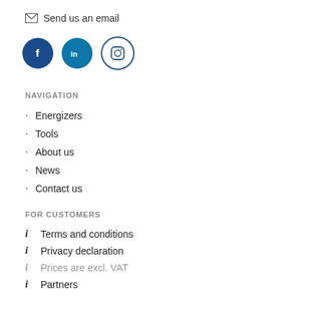Send us an email
[Figure (illustration): Social media icons: Facebook (dark blue circle with f), LinkedIn (teal circle with in), Instagram (outlined circle with camera icon)]
NAVIGATION
Energizers
Tools
About us
News
Contact us
FOR CUSTOMERS
Terms and conditions
Privacy declaration
Prices are excl. VAT
Partners